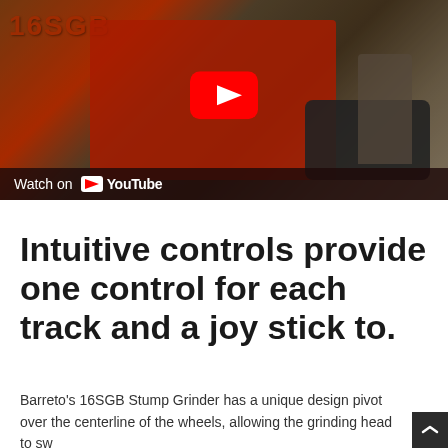[Figure (photo): YouTube video thumbnail showing a red Barreto 16SGB Stump Grinder machine with a person operating it. A YouTube play button is overlaid at the top center. A dark bar at the bottom reads 'Watch on YouTube'.]
Intuitive controls provide one control for each track and a joy stick to.
Barreto's 16SGB Stump Grinder has a unique design pivot over the centerline of the wheels, allowing the grinding head to sw